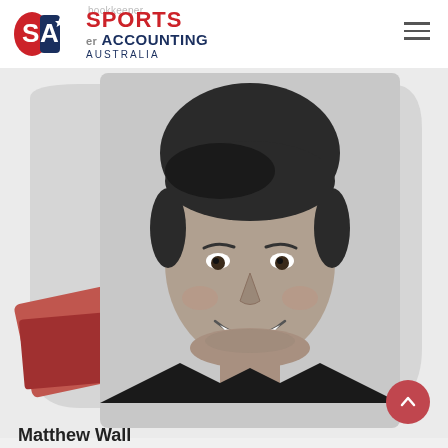[Figure (logo): Sports Accounting Australia logo with red and navy S A letter mark and text]
bookkeeper
[Figure (photo): Black and white portrait photo of a smiling young man, Matthew Wall, against a gray rounded background with a red decorative shape in the lower left]
Matthew Wall